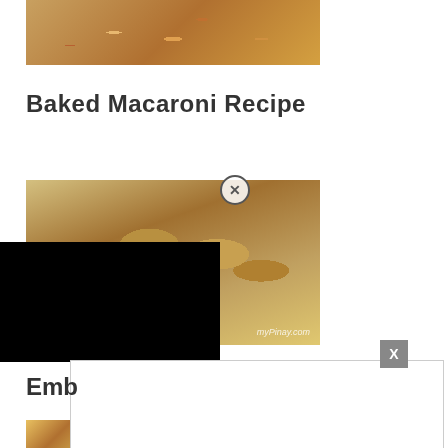[Figure (photo): Top portion of a baked macaroni dish, showing pasta with cheese and meat toppings, cropped at top of page]
Baked Macaroni Recipe
[Figure (photo): Breaded food balls (Scotch eggs or similar) on a white plate with garnish, watermark reading 'myPinay.com', with a close (X) button overlay]
[Figure (other): Black video player overlay covering lower-left portion of the page]
X
[Figure (other): White embed box with border]
Emb
[Figure (photo): Partial bottom image of another food item, cut off at page bottom]